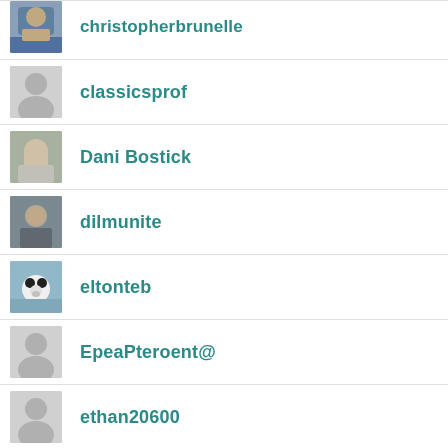christopherbrunelle
classicsprof
Dani Bostick
dilmunite
eltonteb
EpeaPteroent@
ethan20600